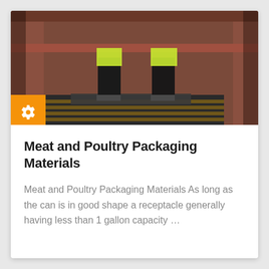[Figure (photo): Two people in yellow high-visibility vests standing on a metal platform inside a large shipping container or industrial structure with brown/red walls and wooden slats on the floor.]
Meat and Poultry Packaging Materials
Meat and Poultry Packaging Materials As long as the can is in good shape a receptacle generally having less than 1 gallon capacity …